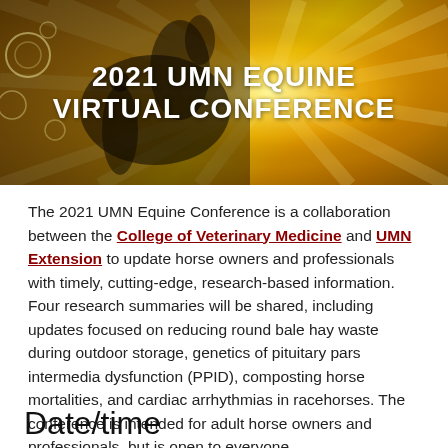[Figure (photo): Banner image showing silhouette of a horse and person against a golden/yellow sunburst background with the text '2021 UMN EQUINE VIRTUAL CONFERENCE' overlaid in white bold text.]
The 2021 UMN Equine Conference is a collaboration between the College of Veterinary Medicine and UMN Extension to update horse owners and professionals with timely, cutting-edge, research-based information. Four research summaries will be shared, including updates focused on reducing round bale hay waste during outdoor storage, genetics of pituitary pars intermedia dysfunction (PPID), composting horse mortalities, and cardiac arrhythmias in racehorses. The conference is intended for adult horse owners and professionals, but is open to everyone.
Date/time